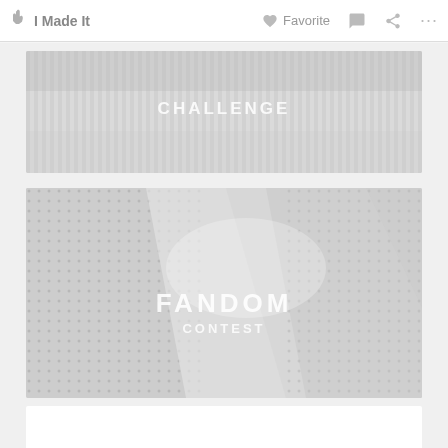🖐 I Made It   ♥ Favorite  💬  ⋮⋮
[Figure (photo): Blurred light-colored background image with text overlay reading CHALLENGE]
[Figure (photo): Blurred image of microphone/fabric texture with text overlays reading FANDOM and CONTEST]